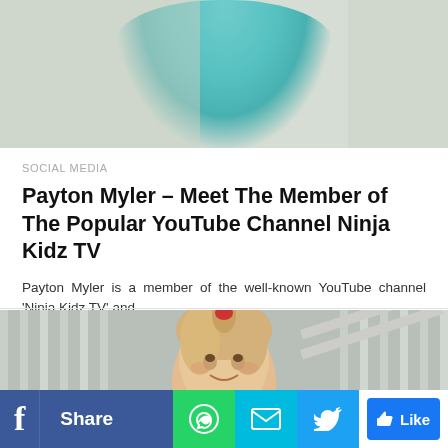[Figure (photo): Top portion of a person wearing a teal/turquoise top against a blurred outdoor background]
SOCIAL MEDIA
Payton Myler – Meet The Member of The Popular YouTube Channel Ninja Kidz TV
Payton Myler is a member of the well-known YouTube channel 'Ninja Kidz TV' and...
[Figure (photo): A smiling blonde girl with a red scrunchie ponytail, sitting near a fence railing outdoors]
[Figure (infographic): Social media share bar with Facebook Share, WhatsApp, Email, Twitter, and Like buttons]